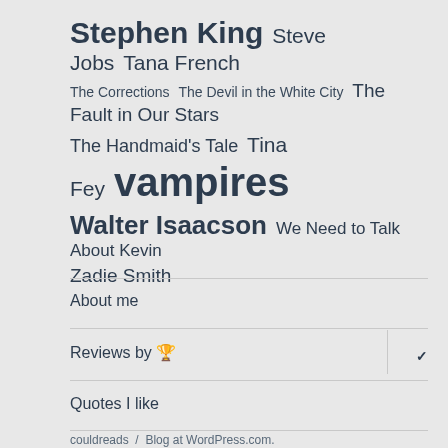Stephen King  Steve Jobs  Tana French  The Corrections  The Devil in the White City  The Fault in Our Stars  The Handmaid's Tale  Tina Fey  vampires  Walter Isaacson  We Need to Talk About Kevin  Zadie Smith
About me
Reviews by 🏆
Quotes I like
couldreads  /  Blog at WordPress.com.